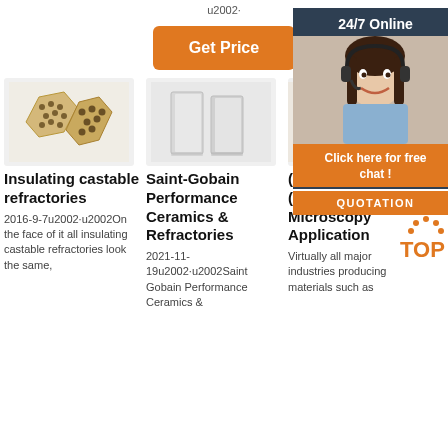u2002·
Get Price
24/7 Online
[Figure (photo): Hexagonal insulating castable refractory bricks]
[Figure (photo): Two white rectangular Saint-Gobain ceramic refractory blocks]
[Figure (photo): Partially visible third product image]
Insulating castable refractories
Saint-Gobain Performance Ceramics & Refractories
(PDF) Cathodic (CL) Microscopy Application
2016-9-7u2002·u2002On the face of it all insulating castable refractories look the same,
2021-11-19u2002·u2002Saint Gobain Performance Ceramics &
Virtually all major industries producing materials such as
Click here for free chat !
QUOTATION